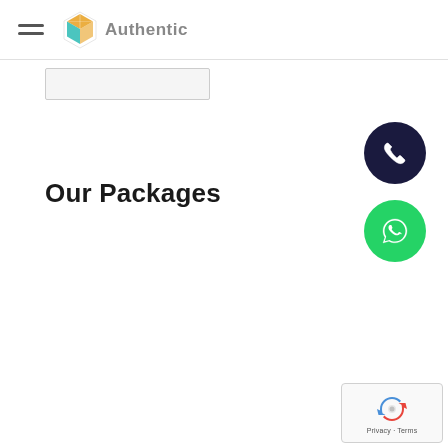Authentic
[Figure (logo): Authentic project management logo with geometric icon in orange and teal colors]
Our Packages
[Figure (illustration): Dark navy circular button with white phone/call icon]
[Figure (illustration): Green circular button with white WhatsApp speech bubble icon]
[Figure (illustration): Google reCAPTCHA widget showing recycling arrows logo with Privacy and Terms text]